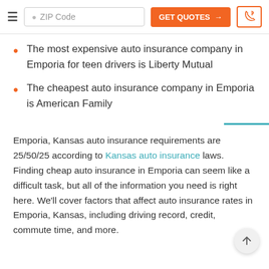ZIP Code  GET QUOTES →  [phone icon]
The most expensive auto insurance company in Emporia for teen drivers is Liberty Mutual
The cheapest auto insurance company in Emporia is American Family
Emporia, Kansas auto insurance requirements are 25/50/25 according to Kansas auto insurance laws. Finding cheap auto insurance in Emporia can seem like a difficult task, but all of the information you need is right here. We'll cover factors that affect auto insurance rates in Emporia, Kansas, including driving record, credit, commute time, and more.